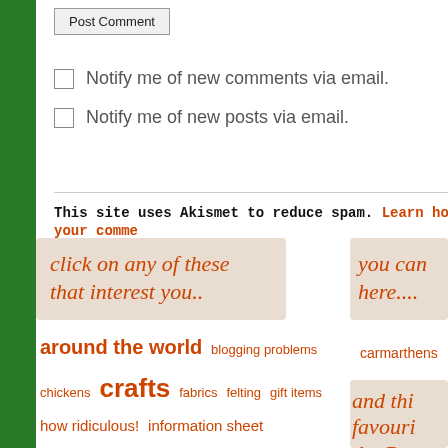Post Comment
Notify me of new comments via email.
Notify me of new posts via email.
This site uses Akismet to reduce spam. Learn how your comme...
[Figure (illustration): Brushstroke banner with text: click on any of these that interest you..]
[Figure (illustration): Brushstroke banner with text: you can here....]
around the world  blogging problems  chickens  crafts  fabrics  felting  gift items  how ridiculous!  information sheet  knitting/crochet  out & about  photography  quilting  re-blog  recycling  royal mail  sewing  shop talk  show & tell  silk  spinning
carmarthens
[Figure (illustration): Brushstroke banner with text: and thi favouri the Bre]